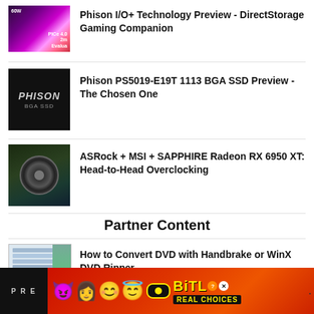[Figure (photo): Thumbnail image with purple/pink gradient, SSD product image]
Phison I/O+ Technology Preview - DirectStorage Gaming Companion
[Figure (photo): Black background with PHISON BGA SSD italic text logo]
Phison PS5019-E19T 1113 BGA SSD Preview - The Chosen One
[Figure (photo): GPU with large fan, green/dark background]
ASRock + MSI + SAPPHIRE Radeon RX 6950 XT: Head-to-Head Overclocking
Partner Content
[Figure (screenshot): Screenshot of DVD ripping software interface]
How to Convert DVD with Handbrake or WinX DVD Ripper
[Figure (advertisement): BitLife app advertisement with red background, emoji characters, yellow BitLife logo, REAL CHOICES text]